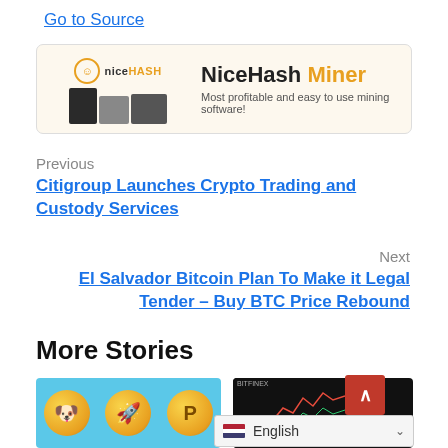Go to Source
[Figure (infographic): NiceHash Miner advertisement banner. Logo and mining hardware images on left, text 'NiceHash Miner - Most profitable and easy to use mining software!' on right.]
Previous
Citigroup Launches Crypto Trading and Custody Services
Next
El Salvador Bitcoin Plan To Make it Legal Tender – Buy BTC Price Rebound
More Stories
[Figure (photo): Three gold cryptocurrency coins on a cyan/blue background - appears to show meme coins with animal and rocket symbols]
[Figure (screenshot): Dark cryptocurrency trading chart with candlestick pattern shown in red/green]